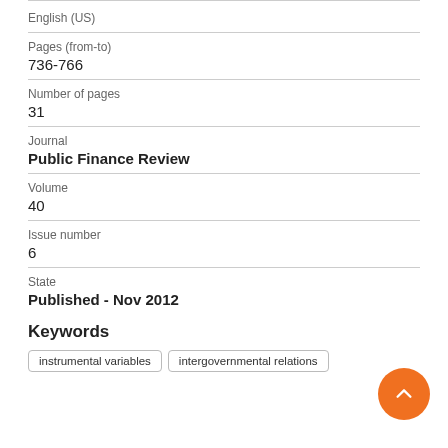English (US)
Pages (from-to)
736-766
Number of pages
31
Journal
Public Finance Review
Volume
40
Issue number
6
State
Published - Nov 2012
Keywords
instrumental variables
intergovernmental relations